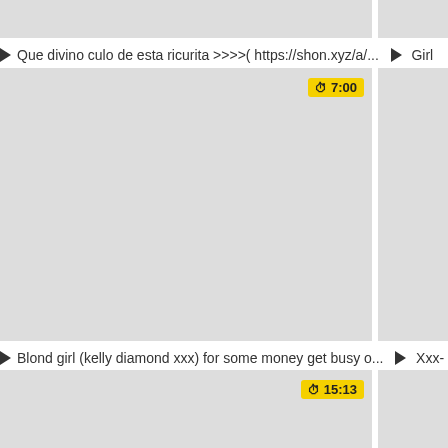[Figure (screenshot): Partial video thumbnail at top, grey rectangle, cropped]
▶ Que divino culo de esta ricurita >>>>( https://shon.xyz/a/... ▶ Girl
[Figure (screenshot): Video thumbnail placeholder grey rectangle with duration badge 7:00]
▶ Blond girl (kelly diamond xxx) for some money get busy o... ▶ Xxx-
[Figure (screenshot): Video thumbnail placeholder grey rectangle with duration badge 15:13, partially visible]